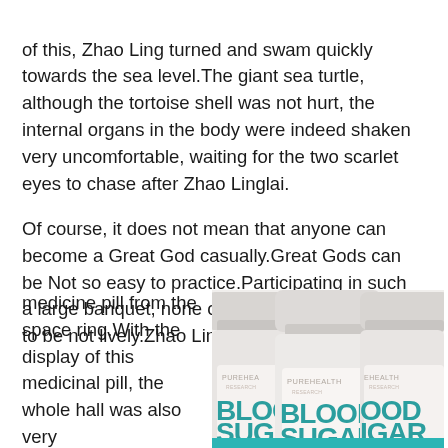of this, Zhao Ling turned and swam quickly towards the sea level.The giant sea turtle, although the tortoise shell was not hurt, the internal organs in the body were indeed shaken very uncomfortable, waiting for the two scarlet eyes to chase after Zhao Linglai.
Of course, it does not mean that anyone can become a Great God casually.Great Gods can be Not so easy to practice.Participating in such a large banquet, none of the lucky draws seems to be not lively.Zhao Ling took out a top notch medicine pill from the space ring.With the display of this medicinal pill, the whole hall was also very
[Figure (photo): Three supplement bottles labeled PUREHEALTH RESEARCH BLOOD SUGAR, shown in a row, partially cropped. The bottles are white/grey with teal text reading BLOOD SUGAR on the labels.]